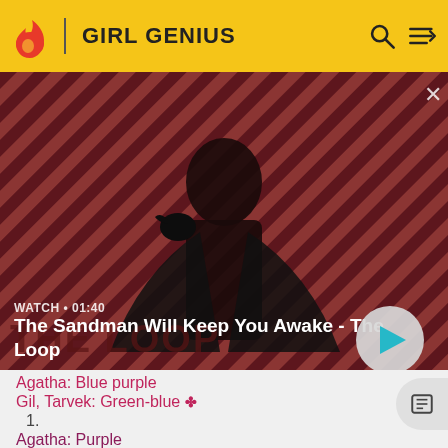GIRL GENIUS
[Figure (screenshot): Video thumbnail for 'The Sandman Will Keep You Awake - The Loop' showing a dark-cloaked figure against a red and dark diagonal-striped background with a raven on shoulder. Shows WATCH • 01:40 label and a play button.]
Agatha: Blue purple
Gil, Tarvek: Green-blue ✤
1.
Agatha: Purple
Gil, Tarvek: Blue ✤